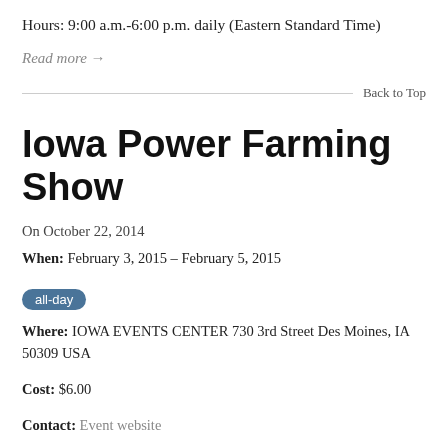Hours: 9:00 a.m.-6:00 p.m. daily (Eastern Standard Time)
Read more →
Back to Top
Iowa Power Farming Show
On October 22, 2014
When:  February 3, 2015 – February 5, 2015
all-day
Where:  IOWA EVENTS CENTER 730 3rd Street Des Moines, IA 50309 USA
Cost:  $6.00
Contact:  Event website
ETS is exhibiting with Midwest Bio Ag in booth 3601